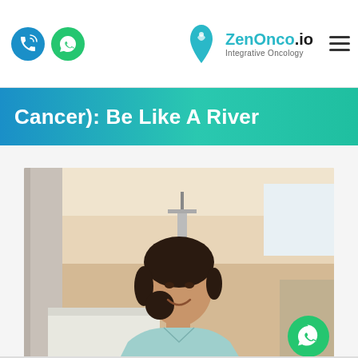ZenOnco.io — Integrative Oncology
Cancer): Be Like A River
[Figure (photo): A young woman in a light blue hospital gown sitting on a hospital bed, smiling, inside a hospital room with beige walls and medical equipment in the background.]